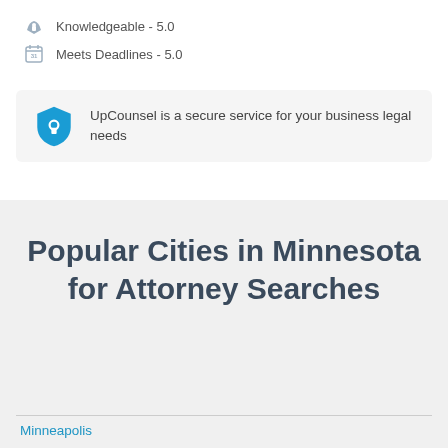Knowledgeable - 5.0
Meets Deadlines - 5.0
UpCounsel is a secure service for your business legal needs
Popular Cities in Minnesota for Attorney Searches
Minneapolis